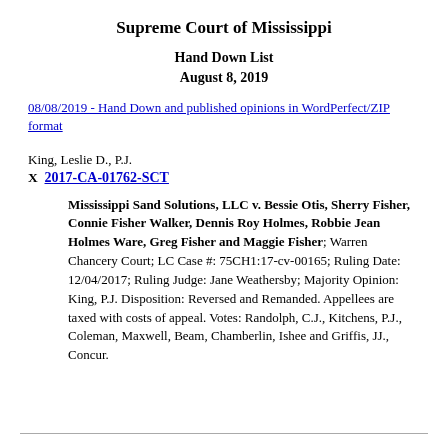Supreme Court of Mississippi
Hand Down List
August 8, 2019
08/08/2019 - Hand Down and published opinions in WordPerfect/ZIP format
King, Leslie D., P.J.
X  2017-CA-01762-SCT
Mississippi Sand Solutions, LLC v. Bessie Otis, Sherry Fisher, Connie Fisher Walker, Dennis Roy Holmes, Robbie Jean Holmes Ware, Greg Fisher and Maggie Fisher; Warren Chancery Court; LC Case #: 75CH1:17-cv-00165; Ruling Date: 12/04/2017; Ruling Judge: Jane Weathersby; Majority Opinion: King, P.J. Disposition: Reversed and Remanded. Appellees are taxed with costs of appeal. Votes: Randolph, C.J., Kitchens, P.J., Coleman, Maxwell, Beam, Chamberlin, Ishee and Griffis, JJ., Concur.